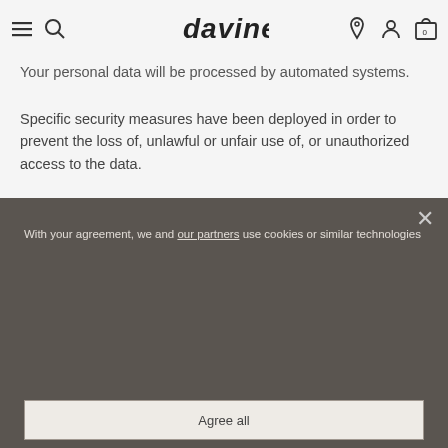davines [navigation: hamburger menu, search, location, account, cart(0)]
Your personal data will be processed by automated systems.
Specific security measures have been deployed in order to prevent the loss of, unlawful or unfair use of, or unauthorized access to the data.
With your agreement, we and our partners use cookies or similar technologies to store, access, and process personal data like your visit on this website. You can withdraw your consent or object to data processing based on legitimate interest at any time by clicking on "Learn More" or in our Cookie Policy on this website.
Learn More
Reject all
Agree all